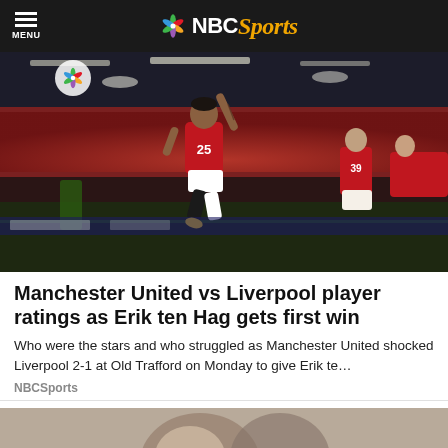NBC Sports
[Figure (photo): Manchester United player number 25 celebrating by jumping with arm pointing up, Old Trafford crowd in background, teammates in red jerseys visible]
Manchester United vs Liverpool player ratings as Erik ten Hag gets first win
Who were the stars and who struggled as Manchester United shocked Liverpool 2-1 at Old Trafford on Monday to give Erik te…
NBCSports
[Figure (photo): Partial view of second article image at bottom of page]